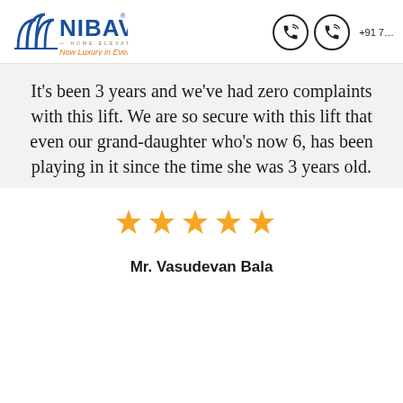[Figure (logo): Nibav Home Elevators logo with blue text and orange tagline 'Now Luxury in Every Home', accompanied by two phone icons and +91 7...]
It's been 3 years and we've had zero complaints with this lift. We are so secure with this lift that even our grand-daughter who's now 6, has been playing in it since the time she was 3 years old.
[Figure (other): Five gold/orange star rating icons]
Mr. Vasudevan Bala